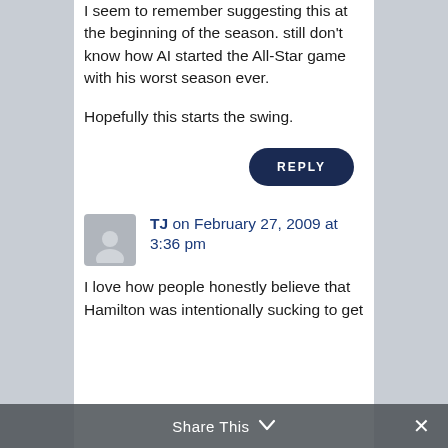I seem to remember suggesting this at the beginning of the season. still don't know how AI started the All-Star game with his worst season ever.

Hopefully this starts the swing.
REPLY
TJ on February 27, 2009 at 3:36 pm
I love how people honestly believe that Hamilton was intentionally sucking to get
Share This